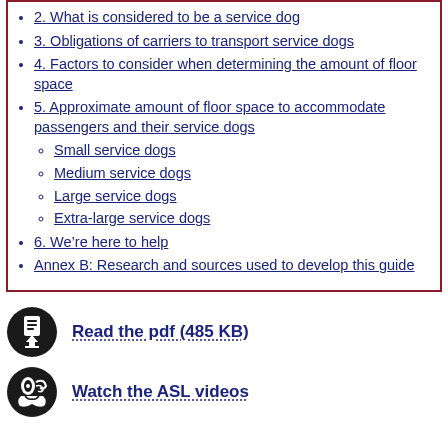2. What is considered to be a service dog
3. Obligations of carriers to transport service dogs
4. Factors to consider when determining the amount of floor space
5. Approximate amount of floor space to accommodate passengers and their service dogs
Small service dogs
Medium service dogs
Large service dogs
Extra-large service dogs
6. We’re here to help
Annex B: Research and sources used to develop this guide
Read the pdf (485 KB)
Watch the ASL videos